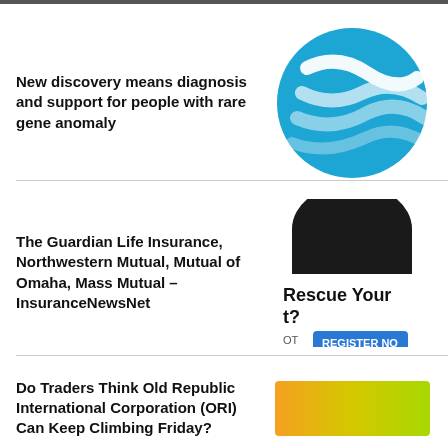New discovery means diagnosis and support for people with rare gene anomaly
[Figure (logo): Circular blue logo with white DNA double helix strand graphic]
The Guardian Life Insurance, Northwestern Mutual, Mutual of Omaha, Mass Mutual – InsuranceNewsNet
[Figure (screenshot): Advertisement image with dark semicircle at top, text 'Rescue Your t?' and blue 'REGISTER NO' button]
Do Traders Think Old Republic International Corporation (ORI) Can Keep Climbing Friday?
[Figure (illustration): Gradient rectangle from orange to yellow-green]